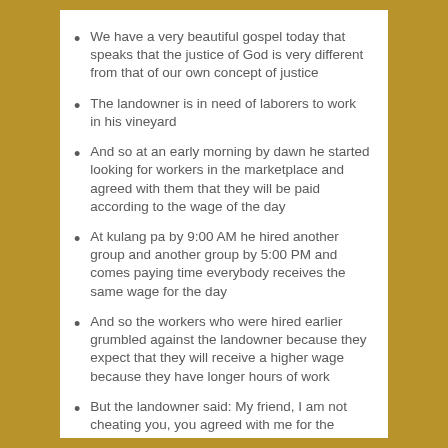We have a very beautiful gospel today that speaks that the justice of God is very different from that of our own concept of justice
The landowner is in need of laborers to work in his vineyard
And so at an early morning by dawn he started looking for workers in the marketplace and agreed with them that they will be paid according to the wage of the day
At kulang pa by 9:00 AM he hired another group and another group by 5:00 PM and comes paying time everybody receives the same wage for the day
And so the workers who were hired earlier grumbled against the landowner because they expect that they will receive a higher wage because they have longer hours of work
But the landowner said: My friend, I am not cheating you, you agreed with me for the usual daily wage